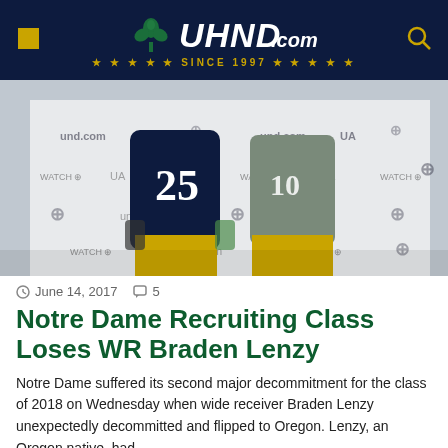UHND.COM ★ ★ ★ ★ ★ SINCE 1997 ★ ★ ★ ★ ★
[Figure (photo): Two Notre Dame football players in navy and gold uniforms standing in front of a Notre Dame branded backdrop with Under Armour logos]
June 14, 2017  5
Notre Dame Recruiting Class Loses WR Braden Lenzy
Notre Dame suffered its second major decommitment for the class of 2018 on Wednesday when wide receiver Braden Lenzy unexpectedly decommitted and flipped to Oregon.  Lenzy, an Oregon native, had...